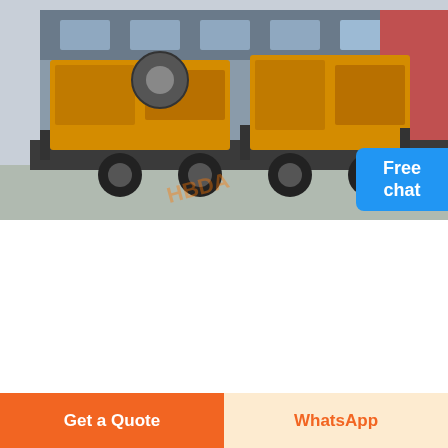[Figure (photo): Large yellow mobile stone crusher machine on a flatbed truck, parked in front of an industrial building. The machine has multiple yellow crushing units mounted on a wheeled trailer.]
WELD STONE CRUSHER RIMS F/S | GREAT LAKES 4X4. THE LARGEST ...
Oct 26, 2009· FrischJ · updated Feb 10, 2009. 17" Rock Crusher rims 6 lug. Parts for sale. 10. 2K. L. lowfullsize · updated Dec 22, 2008.